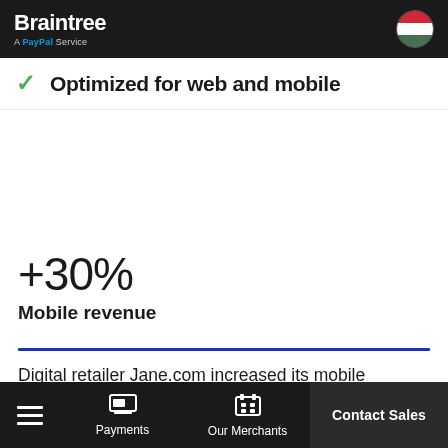Braintree — A PayPal Service
✓ Optimized for web and mobile
+30%
Mobile revenue
Digital retailer Jane.com increased its mobile revenue 30% after integrating PayPal One Touch.
Payments | Our Merchants | Contact Sales